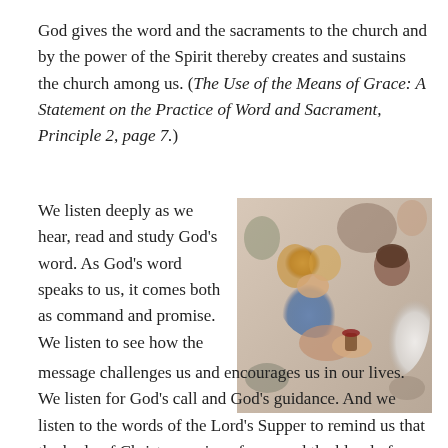God gives the word and the sacraments to the church and by the power of the Spirit thereby creates and sustains the church among us. (The Use of the Means of Grace: A Statement on the Practice of Word and Sacrament, Principle 2, page 7.)
We listen deeply as we hear, read and study God's word. As God's word speaks to us, it comes both as command and promise. We listen to see how the message challenges us and encourages us in our lives. We listen for God's call and God's guidance. And we listen to the words of the Lord's Supper to remind us that the body of Christ was given for us and the blood of Christ was shed
[Figure (photo): A woman with curly blonde hair bowing her head, receiving communion from a person in white liturgical robes, with congregation members visible in the background.]